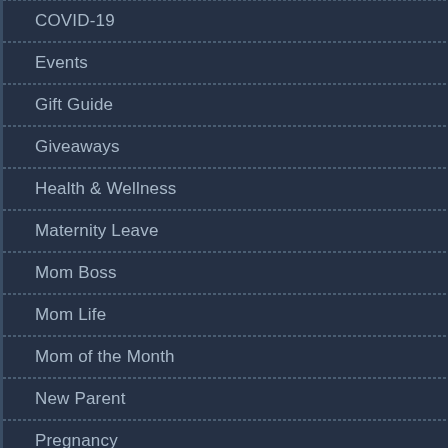COVID-19
Events
Gift Guide
Giveaways
Health & Wellness
Maternity Leave
Mom Boss
Mom Life
Mom of the Month
New Parent
Pregnancy
Relationships